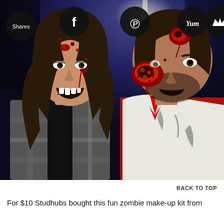[Figure (photo): Two people wearing zombie Halloween makeup and costumes posing together at night. The woman on the left has dark hair, a plaid shirt, and fake blood/wounds on her face, snarling at the camera. The man on the right has a large gory wound on his cheek and forehead, wearing a red shirt under a white distressed jacket. Background shows dark blue night sky with a light source visible. Social sharing buttons (Shares, Facebook, Pinterest, Yum, crown/favorite) appear as dark circular icons along the top.]
BACK TO TOP
For $10 Studhubs bought this fun zombie make-up kit from